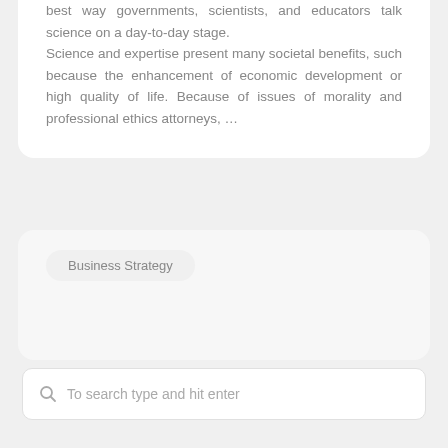best way governments, scientists, and educators talk science on a day-to-day stage. Science and expertise present many societal benefits, such because the enhancement of economic development or high quality of life. Because of issues of morality and professional ethics attorneys, …
Business Strategy
To search type and hit enter